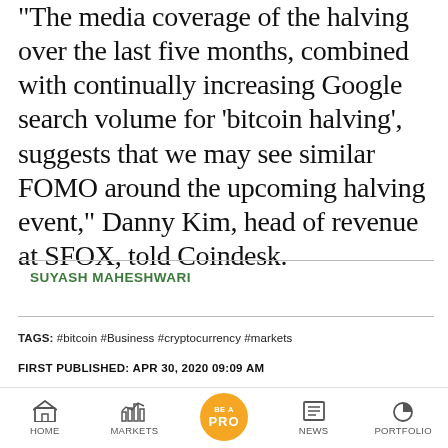“The media coverage of the halving over the last five months, combined with continually increasing Google search volume for ‘bitcoin halving’, suggests that we may see similar FOMO around the upcoming halving event,” Danny Kim, head of revenue at SFOX, told Coindesk.
SUYASH MAHESHWARI
TAGS: #bitcoin #Business #cryptocurrency #markets
FIRST PUBLISHED: APR 30, 2020 09:09 AM
Uni suspends card services after RBI's digital lending...
Ideas for profit | Has PVR become attractive...
HOME  MARKETS  BE A PRO  NEWS  PORTFOLIO